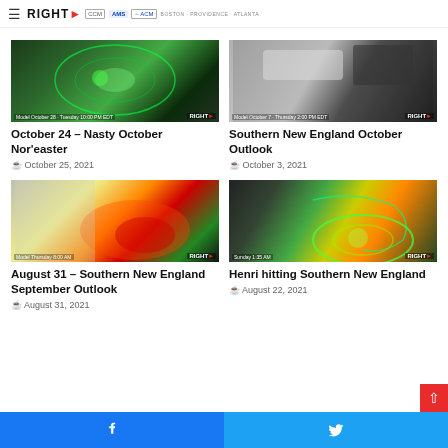RIGHT WEATHER — AMS | ACM — BOSTON · PROVIDENCE · ATLANTA
[Figure (photo): Radar/satellite image of Nor'easter storm system, green swirling pattern]
October 24 – Nasty October Nor'easter
October 25, 2021
[Figure (photo): Satellite weather image of Southern New England, gray and black cloud cover]
Southern New England October Outlook
October 3, 2021
[Figure (photo): Radar image showing heavy precipitation over Southern New England, yellow/orange/red colors]
August 31 – Southern New England September Outlook
August 31, 2021
[Figure (photo): Radar image of Hurricane Henri hitting Southern New England, swirling green spiral]
Henri hitting Southern New England
August 22, 2021
Facebook | Twitter